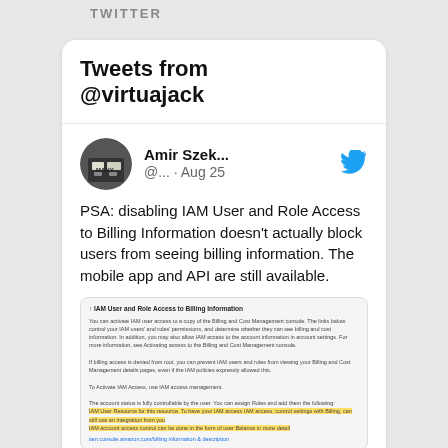TWITTER
Tweets from @virtuajack
Amir Szek... @... · Aug 25
PSA: disabling IAM User and Role Access to Billing Information doesn't actually block users from seeing billing information. The mobile app and API are still available.
[Figure (screenshot): Screenshot of AWS IAM User and Role Access to Billing Information settings page with highlighted text sections in yellow.]